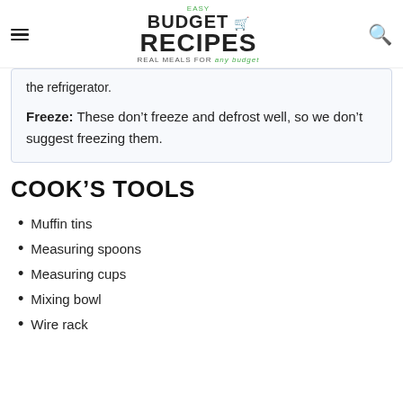Easy Budget Recipes — Real Meals for Any Budget
the refrigerator.
Freeze: These don't freeze and defrost well, so we don't suggest freezing them.
COOK'S TOOLS
Muffin tins
Measuring spoons
Measuring cups
Mixing bowl
Wire rack